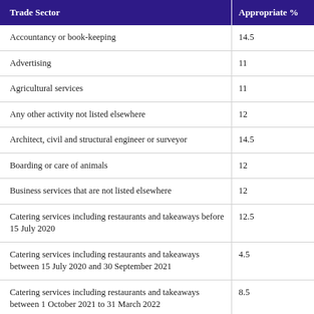| Trade Sector | Appropriate % |
| --- | --- |
| Accountancy or book-keeping | 14.5 |
| Advertising | 11 |
| Agricultural services | 11 |
| Any other activity not listed elsewhere | 12 |
| Architect, civil and structural engineer or surveyor | 14.5 |
| Boarding or care of animals | 12 |
| Business services that are not listed elsewhere | 12 |
| Catering services including restaurants and takeaways before 15 July 2020 | 12.5 |
| Catering services including restaurants and takeaways between 15 July 2020 and 30 September 2021 | 4.5 |
| Catering services including restaurants and takeaways between 1 October 2021 to 31 March 2022 | 8.5 |